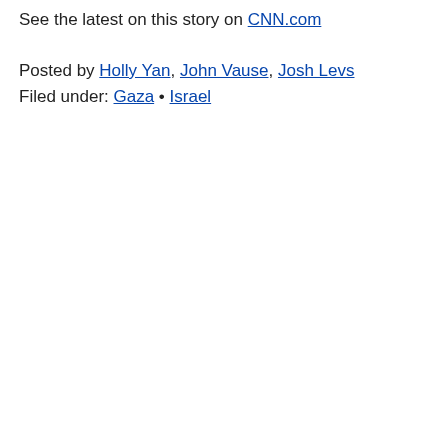See the latest on this story on CNN.com
Posted by Holly Yan, John Vause, Josh Levs
Filed under: Gaza • Israel